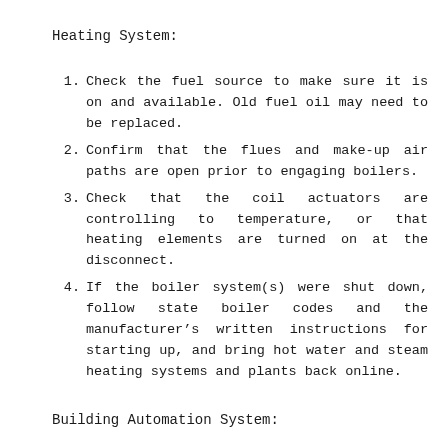Heating System:
Check the fuel source to make sure it is on and available. Old fuel oil may need to be replaced.
Confirm that the flues and make-up air paths are open prior to engaging boilers.
Check that the coil actuators are controlling to temperature, or that heating elements are turned on at the disconnect.
If the boiler system(s) were shut down, follow state boiler codes and the manufacturer’s written instructions for starting up, and bring hot water and steam heating systems and plants back online.
Building Automation System: